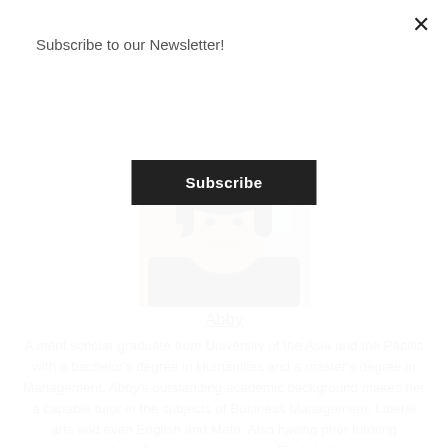Subscribe to our Newsletter!
Subscribe
[Figure (photo): Profile photo of Abby, a young Asian woman smiling, wearing a black top]
Abby
A merit scholar graduate from University of the Asia and the Pacific with a bachelor's degree in Humanities and a master's degree in Management, Abby's outstanding academic background makes her a capable tutor in the subjects of Business Management, Liberal arts and even English and Math. Also having prior tutoring experience helping foreign students learn English, Abby is used to interacting with students from other cultural backgrounds which makes her an amazing choice for students from non